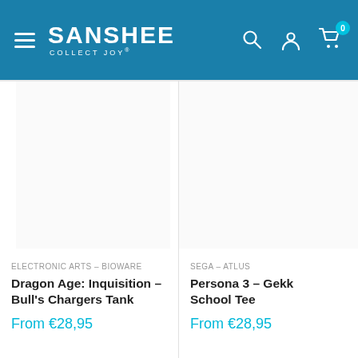[Figure (screenshot): Sanshee e-commerce website header with logo, hamburger menu, search, account, and cart icons on a blue background]
[Figure (photo): Product image area for Dragon Age: Inquisition - Bull's Chargers Tank (empty/white)]
ELECTRONIC ARTS – BIOWARE
Dragon Age: Inquisition – Bull's Chargers Tank
From €28,95
[Figure (photo): Product image area for Persona 3 - Gekkou School Tee (empty/white, partially cropped)]
SEGA – ATLUS
Persona 3 – Gekk... School Tee
From €28,95